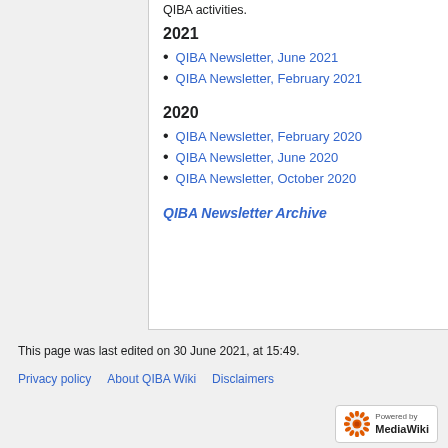QIBA activities.
2021
QIBA Newsletter, June 2021
QIBA Newsletter, February 2021
2020
QIBA Newsletter, February 2020
QIBA Newsletter, June 2020
QIBA Newsletter, October 2020
QIBA Newsletter Archive
This page was last edited on 30 June 2021, at 15:49.
Privacy policy   About QIBA Wiki   Disclaimers